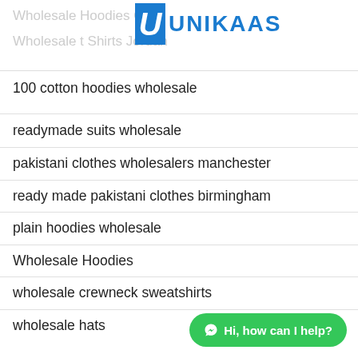Wholesale Hoodies C... | UNIKAAS | Wholesale t Shirts Jordan
100 cotton hoodies wholesale
readymade suits wholesale
pakistani clothes wholesalers manchester
ready made pakistani clothes birmingham
plain hoodies wholesale
Wholesale Hoodies
wholesale crewneck sweatshirts
wholesale hats
[Figure (screenshot): Green chat button with WhatsApp icon and text 'Hi, how can I help?']